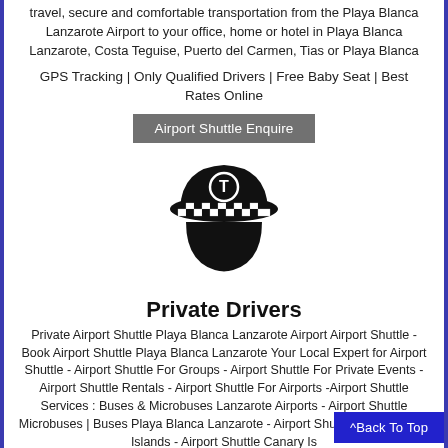travel, secure and comfortable transportation from the Playa Blanca Lanzarote Airport to your office, home or hotel in Playa Blanca Lanzarote, Costa Teguise, Puerto del Carmen, Tias or Playa Blanca
GPS Tracking | Only Qualified Drivers | Free Baby Seat | Best Rates Online
Airport Shuttle Enquire
[Figure (illustration): Black silhouette icon of a chauffeur/taxi driver cap with a checkered band and the letter T in a circle on the front]
Private Drivers
Private Airport Shuttle Playa Blanca Lanzarote Airport Airport Shuttle - Book Airport Shuttle Playa Blanca Lanzarote Your Local Expert for Airport Shuttle - Airport Shuttle For Groups - Airport Shuttle For Private Events - Airport Shuttle Rentals - Airport Shuttle For Airports -Airport Shuttle Services : Buses & Microbuses Lanzarote Airports - Airport Shuttle Microbuses | Buses Playa Blanca Lanzarote - Airport Shuttle Playa Blanca... Islands - Airport Shuttle Canary Is...
^Back To Top